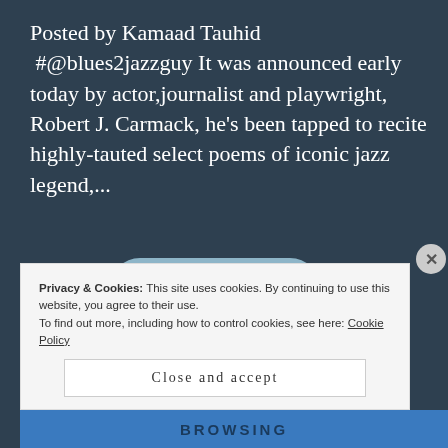Posted by Kamaad Tauhid  #@blues2jazzguy It was announced early today by actor,journalist and playwright, Robert J. Carmack, he's been tapped to recite highly-tauted select poems of iconic jazz legend,...
READ MORE →
Privacy & Cookies: This site uses cookies. By continuing to use this website, you agree to their use.
To find out more, including how to control cookies, see here: Cookie Policy
Close and accept
BROWSING